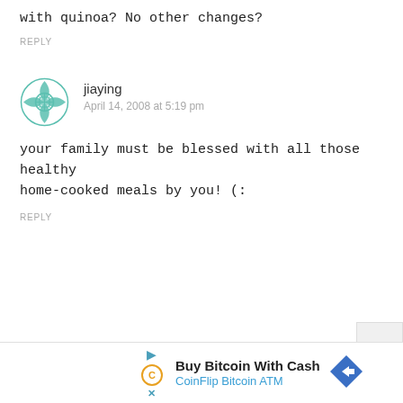with quinoa? No other changes?
REPLY
jiaying
April 14, 2008 at 5:19 pm
your family must be blessed with all those healthy home-cooked meals by you! (:
REPLY
[Figure (screenshot): CoinFlip Bitcoin ATM advertisement banner at the bottom of the page with play icon, Coinflip C logo, text 'Buy Bitcoin With Cash' and 'CoinFlip Bitcoin ATM', and a blue diamond arrow icon]